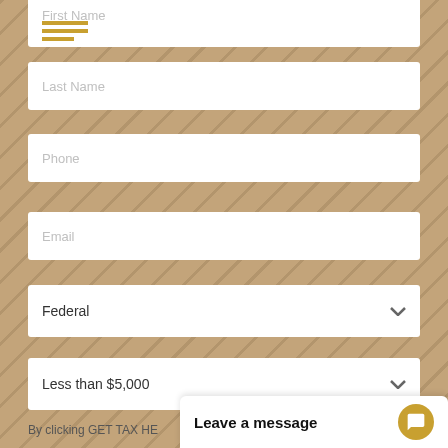First Name
Last Name
Phone
Email
Federal
Less than $5,000
By clicking GET TAX HE...
Leave a message